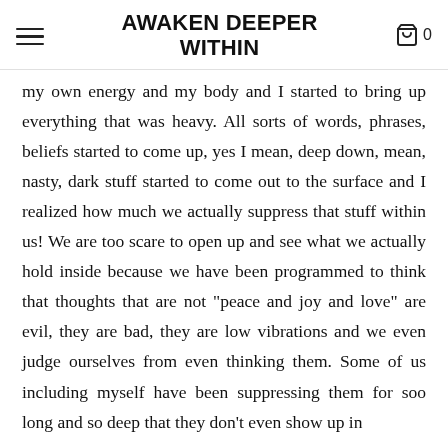AWAKEN DEEPER WITHIN
my own energy and my body and I started to bring up everything that was heavy. All sorts of words, phrases, beliefs started to come up, yes I mean, deep down, mean, nasty, dark stuff started to come out to the surface and I realized how much we actually suppress that stuff within us! We are too scare to open up and see what we actually hold inside because we have been programmed to think that thoughts that are not "peace and joy and love" are evil, they are bad, they are low vibrations and we even judge ourselves from even thinking them. Some of us including myself have been suppressing them for soo long and so deep that they don't even show up in